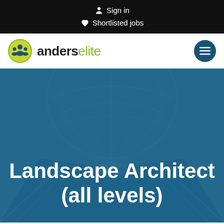Sign in
Shortlisted jobs
[Figure (logo): Anders Elite logo with yellow-green circular icon showing silhouettes of people]
Landscape Architect (all levels)
[Figure (photo): Looking up at a large glass-roofed architectural interior (escalator hall), with a teal/blue overlay]